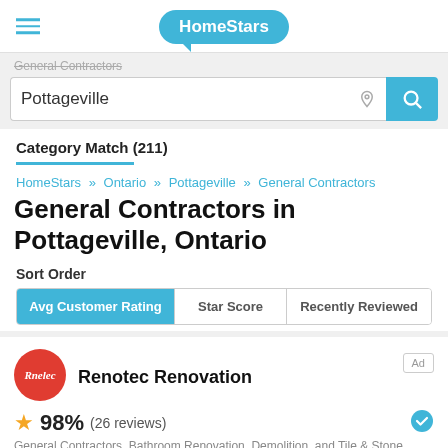HomeStars
General Contractors
Pottageville
Category Match (211)
HomeStars » Ontario » Pottageville » General Contractors
General Contractors in Pottageville, Ontario
Sort Order
Avg Customer Rating | Star Score | Recently Reviewed
Renotec Renovation
98% (26 reviews)
General Contractors, Bathroom Renovation, Demolition, and Tile & Stone